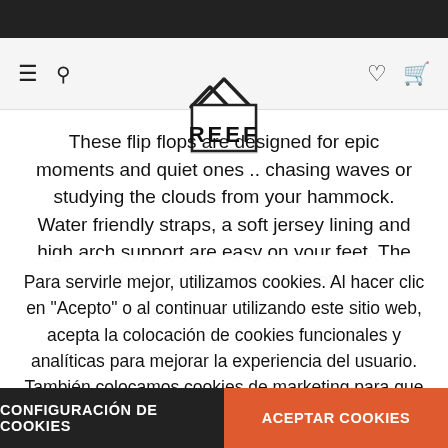[Figure (logo): REEF brand logo with mountain/wave symbol above the word REEF in a box]
These flip flops are designed for epic moments and quiet ones .. chasing waves or studying the clouds from your hammock. Water friendly straps, a soft jersey lining and high arch support are easy on your feet. The bamboo inspired textured footbed
Para servirle mejor, utilizamos cookies. Al hacer clic en "Acepto" o al continuar utilizando este sitio web, acepta la colocación de cookies funcionales y analíticas para mejorar la experiencia del usuario. También colocamos cookies de marketing para que nosotros y terceros podamos rastrear su comportamiento en Internet y mostrar anuncios personalizados y relevantes. Más información…